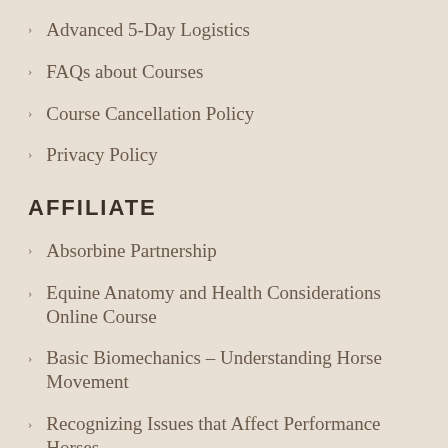Advanced 5-Day Logistics
FAQs about Courses
Course Cancellation Policy
Privacy Policy
AFFILIATE
Absorbine Partnership
Equine Anatomy and Health Considerations Online Course
Basic Biomechanics – Understanding Horse Movement
Recognizing Issues that Affect Performance Horses